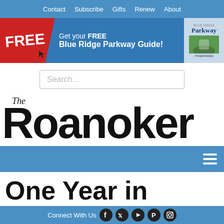Contact  Subscribe  Gifts  Renew  About
[Figure (infographic): Advertisement banner: FREE tag in red on left, text 'Get your FREE Blue Ridge Parkway Guide!' in white on blue background, Parkway magazine cover image on right]
Search...
The Roanoker
One Year in Roanoke: 1971
Connect With Us (Facebook, Twitter, YouTube, Pinterest, Instagram icons)